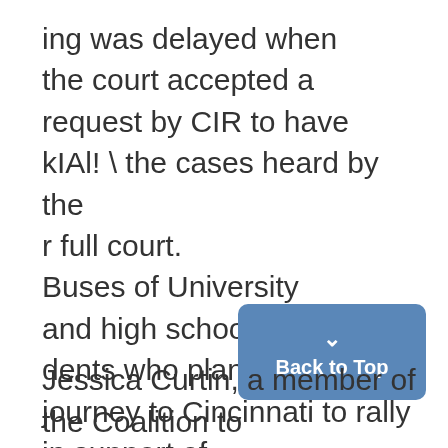ing was delayed when the court accepted a request by CIR to have kIAl! \ the cases heard by the r full court. Buses of University and high school stu-dents who planned to journey to Cincinnati to rally in support of affir-mative action also had to postpone their plans.
Jessica Curtin, a member of the Coalition to